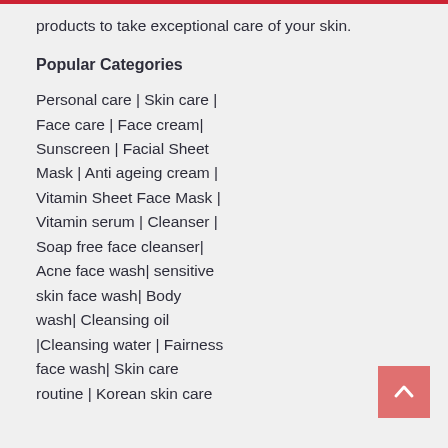products to take exceptional care of your skin.
Popular Categories
Personal care | Skin care | Face care | Face cream| Sunscreen | Facial Sheet Mask | Anti ageing cream | Vitamin Sheet Face Mask | Vitamin serum | Cleanser | Soap free face cleanser| Acne face wash| sensitive skin face wash| Body wash| Cleansing oil |Cleansing water | Fairness face wash| Skin care routine | Korean skin care